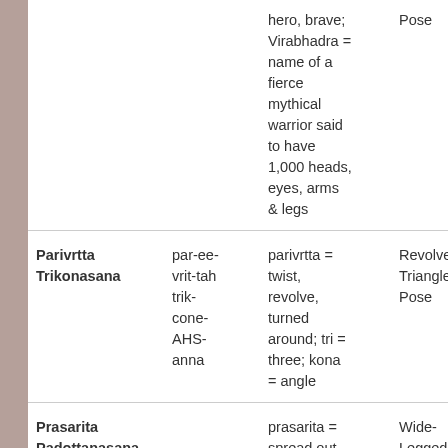| Pose Name | Pronunciation | Meaning | English Name | Type |
| --- | --- | --- | --- | --- |
|  |  | hero, brave; Virabhadra = name of a fierce mythical warrior said to have 1,000 heads, eyes, arms & legs | Pose | hip ope... |
| Parivrtta Trikonasana | par-ee-vrit-tah trik-cone-AHS-anna | parivrtta = twist, revolve, turned around; tri = three; kona = angle | Revolved Triangle Pose | Standing Pose, Twisting Pose |
| Prasarita Padottanasana |  | prasarita = spread out, expanded; | Wide-Legged Forward | Standing Pose, Inversio... |